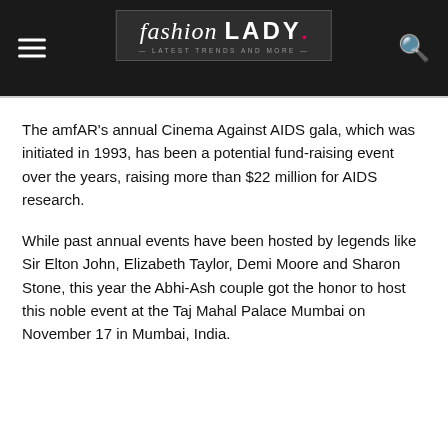fashion LADY · Latest Trends and More
The amfAR's annual Cinema Against AIDS gala, which was initiated in 1993, has been a potential fund-raising event over the years, raising more than $22 million for AIDS research.
While past annual events have been hosted by legends like Sir Elton John, Elizabeth Taylor, Demi Moore and Sharon Stone, this year the Abhi-Ash couple got the honor to host this noble event at the Taj Mahal Palace Mumbai on November 17 in Mumbai, India.